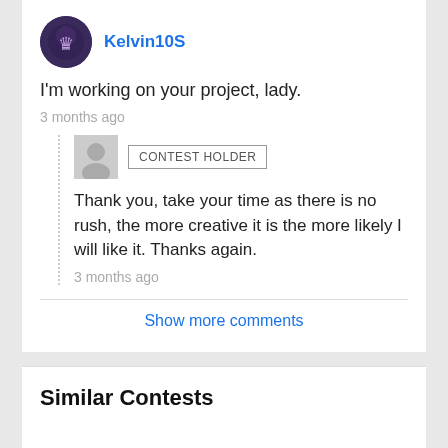Kelvin10S
I'm working on your project, lady.
3 months ago
CONTEST HOLDER
Thank you, take your time as there is no rush, the more creative it is the more likely I will like it. Thanks again.
3 months ago
Show more comments
Similar Contests